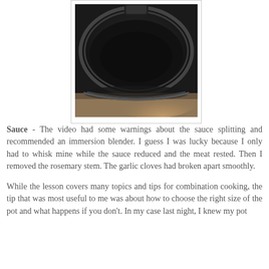[Figure (photo): Close-up photo of a dark cast iron pot lid or pan, showing its rim and handle, resting on a surface with warm light reflecting underneath.]
Sauce - The video had some warnings about the sauce splitting and recommended an immersion blender. I guess I was lucky because I only had to whisk mine while the sauce reduced and the meat rested. Then I removed the rosemary stem. The garlic cloves had broken apart smoothly.
While the lesson covers many topics and tips for combination cooking, the tip that was most useful to me was about how to choose the right size of the pot and what happens if you don't. In my case last night, I knew my pot